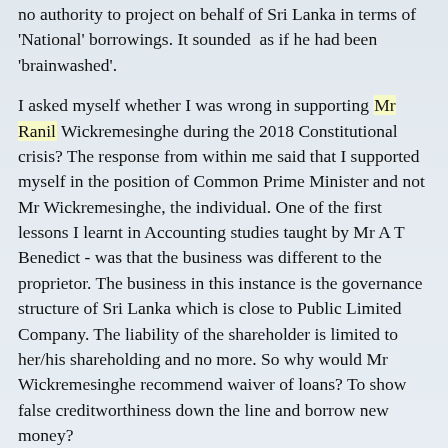no authority to project on behalf of Sri Lanka in terms of National borrowings. It sounded as if he had been 'brainwashed'.
I asked myself whether I was wrong in supporting Mr Ranil Wickremesinghe during the 2018 Constitutional crisis? The response from within me said that I supported myself in the position of Common Prime Minister and not Mr Wickremesinghe, the individual. One of the first lessons I learnt in Accounting studies taught by Mr A T Benedict - was that the business was different to the proprietor. The business in this instance is the governance structure of Sri Lanka which is close to Public Limited Company. The liability of the shareholder is limited to her/his shareholding and no more. So why would Mr Wickremesinghe recommend waiver of loans? To show false creditworthiness down the line and borrow new money?
The moves by the current President of Sri Lanka confirm that the business of Sri Lanka under his presidency would be army / security personnel?
The following from Daily News article 'President adopting scientific response to pandemic – Health Minister' – confirms this: